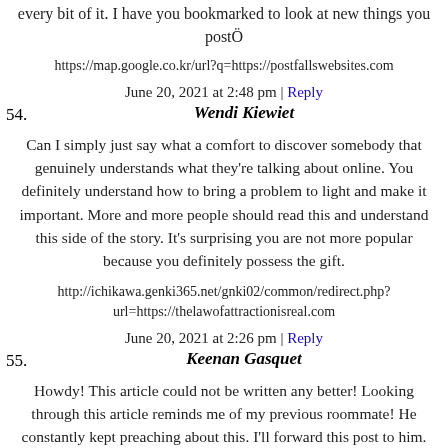every bit of it. I have you bookmarked to look at new things you postÖ
https://map.google.co.kr/url?q=https://postfallswebsites.com
June 20, 2021 at 2:48 pm | Reply
54. Wendi Kiewiet
Can I simply just say what a comfort to discover somebody that genuinely understands what they're talking about online. You definitely understand how to bring a problem to light and make it important. More and more people should read this and understand this side of the story. It's surprising you are not more popular because you definitely possess the gift.
http://ichikawa.genki365.net/gnki02/common/redirect.php?url=https://thelawofattractionisreal.com
June 20, 2021 at 2:26 pm | Reply
55. Keenan Gasquet
Howdy! This article could not be written any better! Looking through this article reminds me of my previous roommate! He constantly kept preaching about this. I'll forward this post to him. Fairly certain he's going to have a good read. Thank you for sharing!